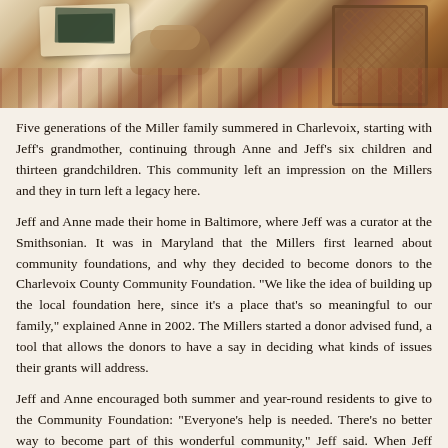[Figure (photo): Photograph showing a cat resting near furniture, books on a table, and a wicker chair on what appears to be a porch or sunroom with a patterned floor.]
Five generations of the Miller family summered in Charlevoix, starting with Jeff's grandmother, continuing through Anne and Jeff's six children and thirteen grandchildren. This community left an impression on the Millers and they in turn left a legacy here.
Jeff and Anne made their home in Baltimore, where Jeff was a curator at the Smithsonian. It was in Maryland that the Millers first learned about community foundations, and why they decided to become donors to the Charlevoix County Community Foundation. "We like the idea of building up the local foundation here, since it's a place that's so meaningful to our family," explained Anne in 2002. The Millers started a donor advised fund, a tool that allows the donors to have a say in deciding what kinds of issues their grants will address.
Jeff and Anne encouraged both summer and year-round residents to give to the Community Foundation: "Everyone's help is needed. There's no better way to become part of this wonderful community," Jeff said. When Jeff passed away in 2005 and Anne ten years later, their daughter Pam Himmelrich continued their